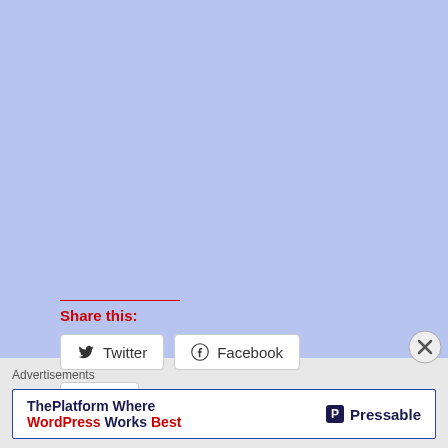[Figure (screenshot): Light blue/periwinkle background area representing a webpage content section]
Share this:
[Figure (screenshot): Twitter share button with bird icon]
[Figure (screenshot): Facebook share button with circle-f icon]
[Figure (screenshot): Like button with blue star icon]
Be the first to like this.
Related
Advertisements
[Figure (screenshot): Pressable advertisement banner: ThePlatform Where WordPress Works Best]